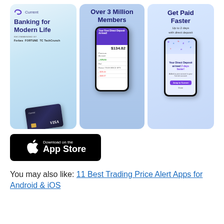[Figure (screenshot): Three app store screenshots for Current banking app: (1) 'Banking for Modern Life' with Current logo, recommended by Forbes, Fortune, TechCrunch, and a Current Visa card; (2) 'Over 3 Million Members' with phone showing app interface with $134.82 balance; (3) 'Get Paid Faster - Up to 2 days with direct deposit' showing a phone with 'Your Direct Deposit arrived 2 days faster!' notification]
[Figure (logo): Download on the App Store button (black background, Apple logo, white text)]
You may also like: 11 Best Trading Price Alert Apps for Android & iOS